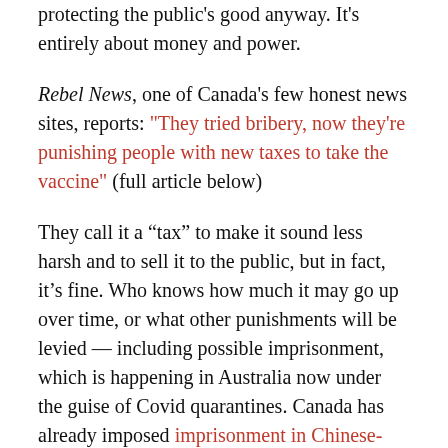protecting the public's good anyway. It's entirely about money and power.
Rebel News, one of Canada's few honest news sites, reports: "They tried bribery, now they're punishing people with new taxes to take the vaccine" (full article below)
They call it a “tax” to make it sound less harsh and to sell it to the public, but in fact, it’s fine. Who knows how much it may go up over time, or what other punishments will be levied — including possible imprisonment, which is happening in Australia now under the guise of Covid quarantines. Canada has already imposed imprisonment in Chinese-owned hotels at the border in 2020.
The Quebec Premier says it’s in the spirit of “fairness” to the...